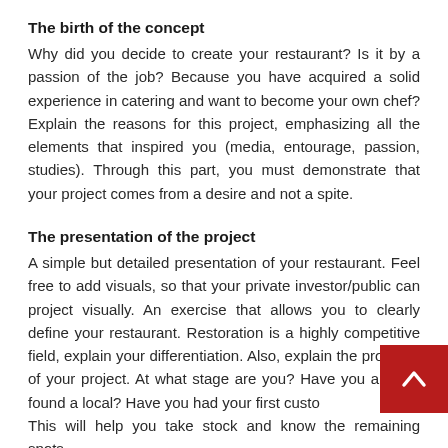The birth of the concept
Why did you decide to create your restaurant? Is it by a passion of the job? Because you have acquired a solid experience in catering and want to become your own chef? Explain the reasons for this project, emphasizing all the elements that inspired you (media, entourage, passion, studies). Through this part, you must demonstrate that your project comes from a desire and not a spite.
The presentation of the project
A simple but detailed presentation of your restaurant. Feel free to add visuals, so that your private investor/public can project visually. An exercise that allows you to clearly define your restaurant. Restoration is a highly competitive field, explain your differentiation. Also, explain the progress of your project. At what stage are you? Have you already found a local? Have you had your first customers. This will help you take stock and know the remaining spots.